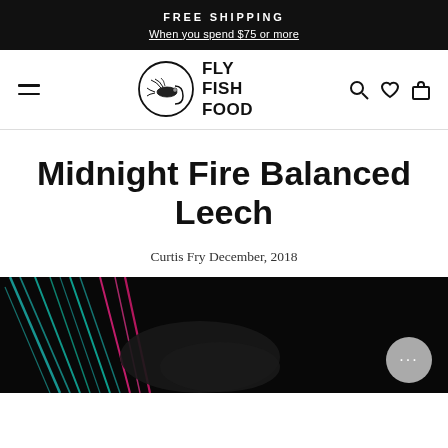FREE SHIPPING
When you spend $75 or more
[Figure (logo): Fly Fish Food logo: circular emblem with a fly fishing lure illustration, next to bold uppercase text reading FLY FISH FOOD]
Midnight Fire Balanced Leech
Curtis Fry December, 2018
[Figure (photo): Dark background photo showing colorful fly fishing lure materials (feathers/fibers) in teal, pink, and other colors against a black background]